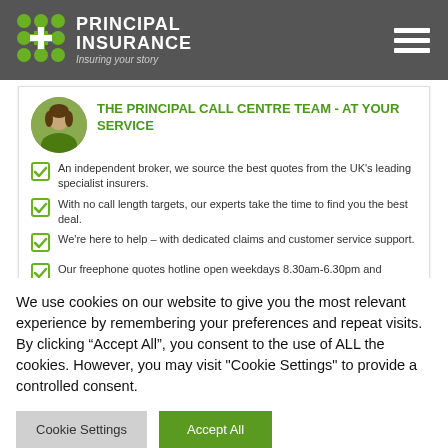Principal Insurance - Insuring your story
THE PRINCIPAL CALL CENTRE TEAM - AT YOUR SERVICE
An independent broker, we source the best quotes from the UK's leading specialist insurers.
With no call length targets, our experts take the time to find you the best deal.
We're here to help – with dedicated claims and customer service support.
Our freephone quotes hotline open weekdays 8.30am-6.30pm and Saturdays 9am-1pm.
We use cookies on our website to give you the most relevant experience by remembering your preferences and repeat visits. By clicking "Accept All", you consent to the use of ALL the cookies. However, you may visit "Cookie Settings" to provide a controlled consent.
Cookie Settings | Accept All